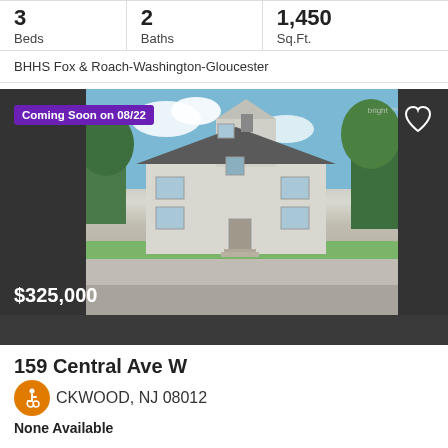| Beds | Baths | Sq.Ft. |
| --- | --- | --- |
| 3 | 2 | 1,450 |
BHHS Fox & Roach-Washington-Gloucester
[Figure (photo): Exterior photo of a two-story white house at 159 Central Ave W, Blackwood NJ, with dark roof and trees in background. Card shows Coming Soon on 08/22 badge, price $325,000, and a heart/favorite icon.]
159 Central Ave W
BLACKWOOD, NJ 08012
None Available